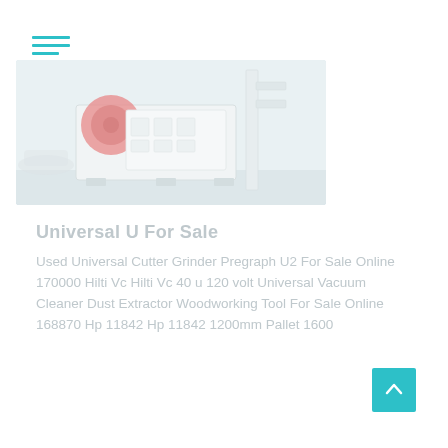[Figure (photo): Industrial machine (appears to be a crusher or grinder) in white/grey color with a red circular element, shown in a workshop/outdoor setting. Image is faded/washed out.]
Universal U For Sale
Used Universal Cutter Grinder Pregraph U2 For Sale Online 170000 Hilti Vc Hilti Vc 40 u 120 volt Universal Vacuum Cleaner Dust Extractor Woodworking Tool For Sale Online 168870 Hp 11842 Hp 11842 1200mm Pallet 1600